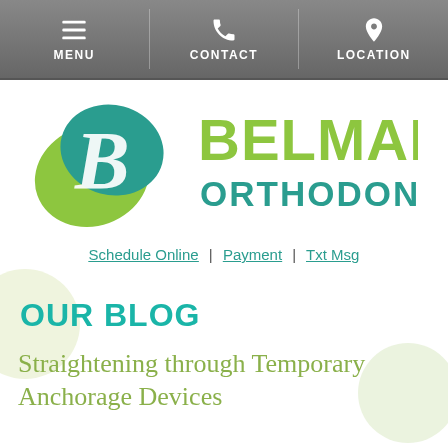MENU | CONTACT | LOCATION
[Figure (logo): Belmar Orthodontics logo with stylized B icon in teal and green, and text BELMAR ORTHODONTICS]
Schedule Online | Payment | Txt Msg
OUR BLOG
Straightening through Temporary Anchorage Devices